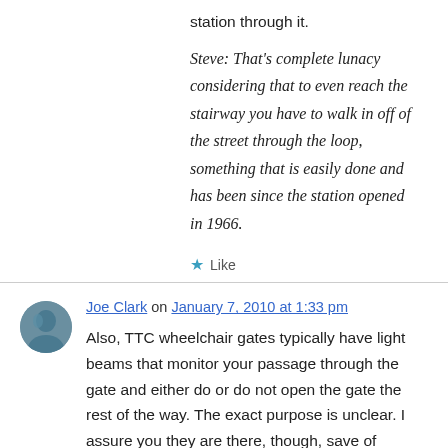station through it.
Steve: That's complete lunacy considering that to even reach the stairway you have to walk in off of the street through the loop, something that is easily done and has been since the station opened in 1966.
★ Like
Joe Clark on January 7, 2010 at 1:33 pm
Also, TTC wheelchair gates typically have light beams that monitor your passage through the gate and either do or do not open the gate the rest of the way. The exact purpose is unclear. I assure you they are there, though, save of